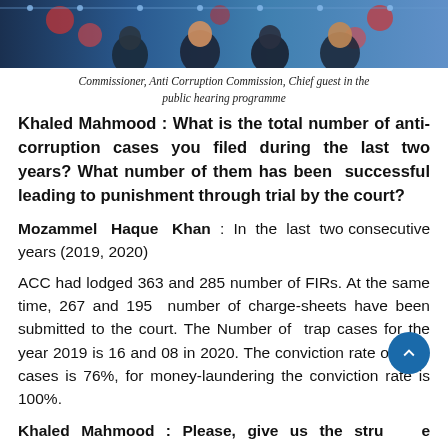[Figure (photo): Cropped photograph showing people at a public hearing programme with blue decorative background]
Commissioner, Anti Corruption Commission, Chief guest in the public hearing programme
Khaled Mahmood : What is the total number of anti-corruption cases you filed during the last two years? What number of them has been successful leading to punishment through trial by the court?
Mozammel Haque Khan : In the last two consecutive years (2019, 2020)
ACC had lodged 363 and 285 number of FIRs. At the same time, 267 and 195 number of charge-sheets have been submitted to the court. The Number of trap cases for the year 2019 is 16 and 08 in 2020. The conviction rate of ACC cases is 76%, for money-laundering the conviction rate is 100%.
Khaled Mahmood : Please, give us the structure including organogram of the staff of ACC. Do you think that the present man-power is sufficient to